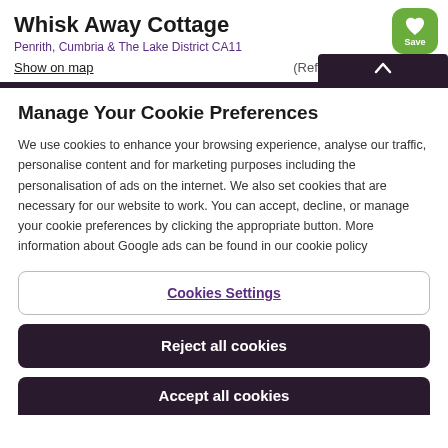Whisk Away Cottage
Penrith, Cumbria & The Lake District CA11
Show on map
(Ref. 1067094)
Manage Your Cookie Preferences
We use cookies to enhance your browsing experience, analyse our traffic, personalise content and for marketing purposes including the personalisation of ads on the internet. We also set cookies that are necessary for our website to work. You can accept, decline, or manage your cookie preferences by clicking the appropriate button. More information about Google ads can be found in our cookie policy
Cookies Settings
Reject all cookies
Accept all cookies